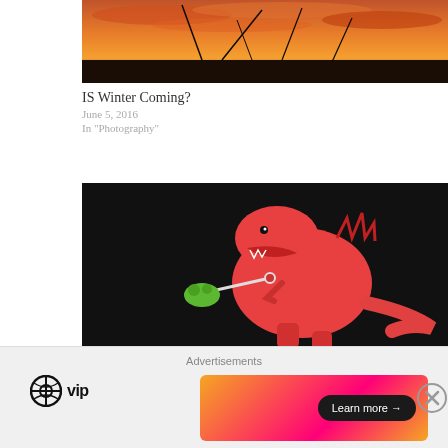[Figure (photo): Sunset/dusk sky with orange and red clouds, silhouette of grass or plants in foreground]
IS Winter Coming?
June 5, 2016
In "Photography"
[Figure (illustration): Red T-Rex dinosaur cartoon holding a wrench or tool on a black background]
Advertisements
[Figure (logo): WordPress VIP logo — WordPress icon circle with 'vip' text]
[Figure (infographic): Advertisement banner with orange/pink gradient and a 'Learn more →' dark button]